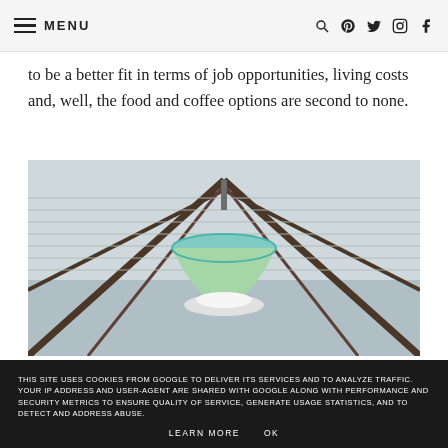MENU [hamburger icon] [search icon] [pinterest icon] [twitter icon] [instagram icon] [facebook icon]
to be a better fit in terms of job opportunities, living costs and, well, the food and coffee options are second to none.
[Figure (photo): Interior architectural photo looking up at a decorative hanging pendant lamp in a glass-roofed structure with wooden beams]
THIS SITE USES COOKIES FROM GOOGLE TO DELIVER ITS SERVICES AND TO ANALYZE TRAFFIC. YOUR IP ADDRESS AND USER-AGENT ARE SHARED WITH GOOGLE ALONG WITH PERFORMANCE AND SECURITY METRICS TO ENSURE QUALITY OF SERVICE, GENERATE USAGE STATISTICS, AND TO DETECT AND ADDRESS ABUSE.
LEARN MORE   OK